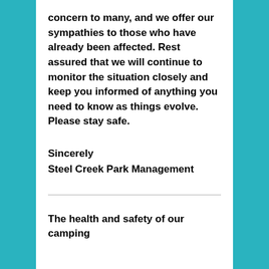concern to many, and we offer our sympathies to those who have already been affected. Rest assured that we will continue to monitor the situation closely and keep you informed of anything you need to know as things evolve.
Please stay safe.
Sincerely
Steel Creek Park Management
The health and safety of our camping